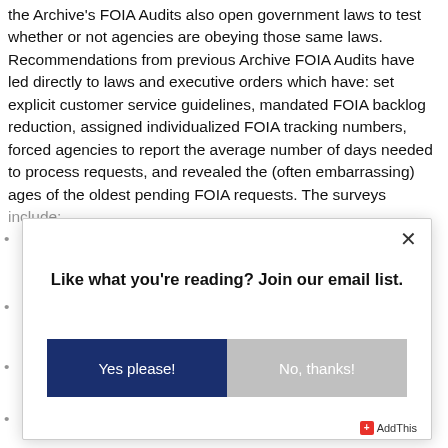the Archive's FOIA Audits also open government laws to test whether or not agencies are obeying those same laws. Recommendations from previous Archive FOIA Audits have led directly to laws and executive orders which have: set explicit customer service guidelines, mandated FOIA backlog reduction, assigned individualized FOIA tracking numbers, forced agencies to report the average number of days needed to process requests, and revealed the (often embarrassing) ages of the oldest pending FOIA requests. The surveys include:
[Figure (screenshot): A modal popup overlay with white background, close button (×) in top right corner, bold text 'Like what you're reading? Join our email list.', and two buttons: 'Yes please!' (dark navy blue) and 'No, thanks!' (gray). AddThis branding in bottom right corner.]